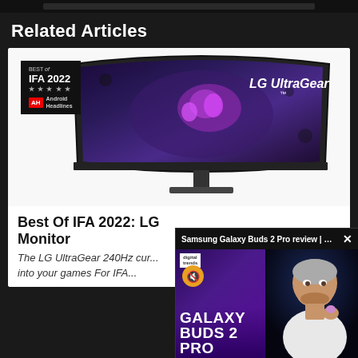Related Articles
[Figure (photo): LG UltraGear curved gaming monitor with 'Best of IFA 2022' badge from Android Headlines, showing gaming artwork on the curved display]
Best Of IFA 2022: LG Monitor
The LG UltraGear 240Hz cur... into your games For IFA...
[Figure (screenshot): Video overlay showing Samsung Galaxy Buds 2 Pro review from Digital Trends, with muted audio icon, Galaxy Buds 2 Pro branding, and a man holding earbuds]